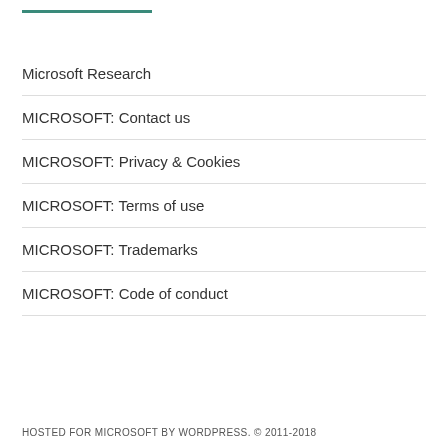Microsoft Research
MICROSOFT: Contact us
MICROSOFT: Privacy & Cookies
MICROSOFT: Terms of use
MICROSOFT: Trademarks
MICROSOFT: Code of conduct
HOSTED FOR MICROSOFT BY WORDPRESS. © 2011-2018